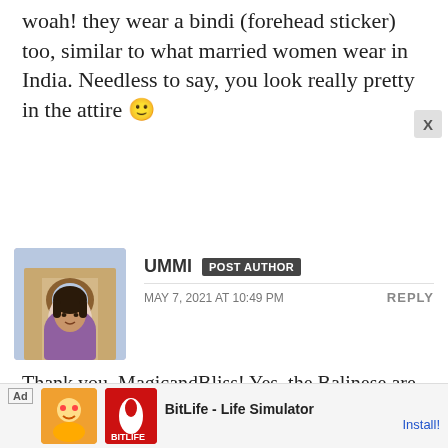woah! they wear a bindi (forehead sticker) too, similar to what married women wear in India. Needless to say, you look really pretty in the attire 🙂
UMMI POST AUTHOR
MAY 7, 2021 AT 10:49 PM
REPLY
Thank you, MagicandBliss! Yes, the Balinese are mostly Hindu. This is one of the things that fascinate me about Balinese culture. In my own country, most Hindus are of Indian descent; it's pretty rare to see a
[Figure (photo): Avatar photo of Ummi, a woman in purple scarf in front of an arched building]
Ad BitLife - Life Simulator Install!